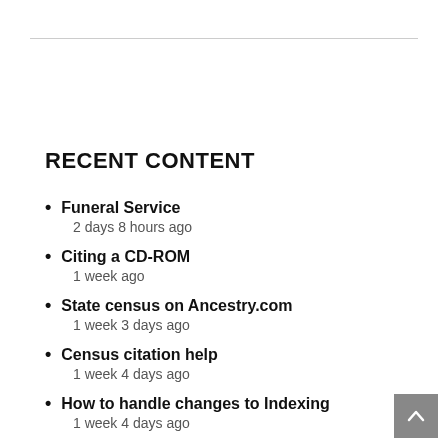RECENT CONTENT
Funeral Service
2 days 8 hours ago
Citing a CD-ROM
1 week ago
State census on Ancestry.com
1 week 3 days ago
Census citation help
1 week 4 days ago
How to handle changes to Indexing
1 week 4 days ago